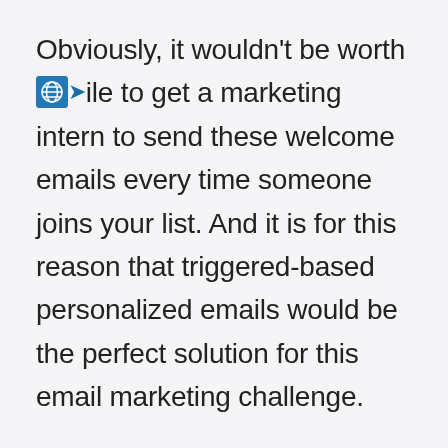Obviously, it wouldn't be worthwhile to get a marketing intern to send these welcome emails every time someone joins your list. And it is for this reason that triggered-based personalized emails would be the perfect solution for this email marketing challenge.
In an email marketing tool, simply set up new automation. This automation will trigger an email 1 and 1 as soon